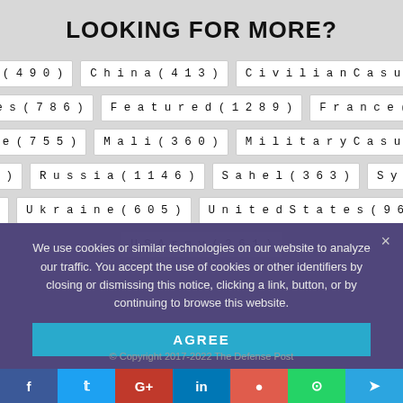LOOKING FOR MORE?
Afghanistan (490)
China (413)
Civilian Casualties (387)
Drones (786)
Featured (1289)
France (395)
Islamic State (755)
Mali (360)
Military Casualties (387)
NATO (370)
Russia (1146)
Sahel (363)
Syria (695)
Turkey (475)
Ukraine (605)
United States (966)
US (625)
US Army (361)
We use cookies or similar technologies on our website to analyze our traffic. You accept the use of cookies or other identifiers by closing or dismissing this notice, clicking a link, button, or by continuing to browse this website.
© Copyright 2017-2022 The Defense Post